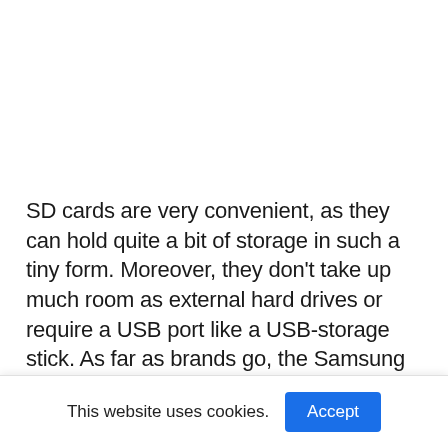SD cards are very convenient, as they can hold quite a bit of storage in such a tiny form. Moreover, they don't take up much room as external hard drives or require a USB port like a USB-storage stick. As far as brands go, the Samsung EVO Select card is among the best. It's produced the same way as the EVO Plus
This website uses cookies.